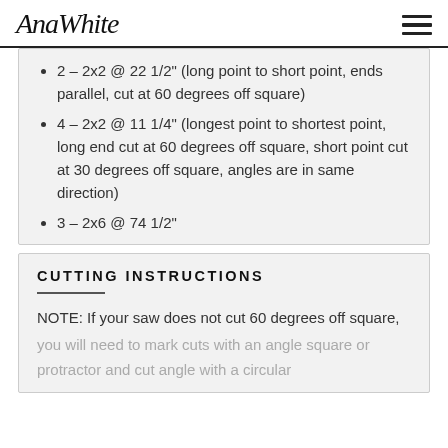AnaWhite
2 – 2x2 @ 22 1/2" (long point to short point, ends parallel, cut at 60 degrees off square)
4 – 2x2 @ 11 1/4" (longest point to shortest point, long end cut at 60 degrees off square, short point cut at 30 degrees off square, angles are in same direction)
3 – 2x6 @ 74 1/2"
CUTTING INSTRUCTIONS
NOTE: If your saw does not cut 60 degrees off square, you will need to mark cuts with an angle square or protractor and cut angle with a circular